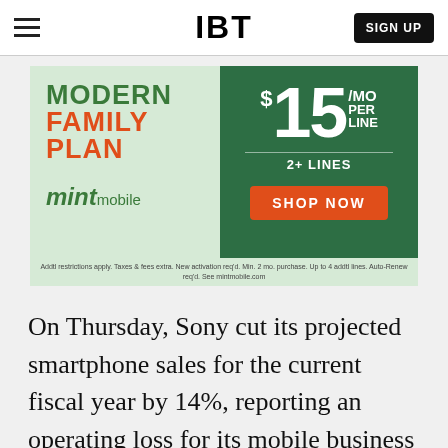IBT | SIGN UP
[Figure (illustration): Mint Mobile advertisement banner: 'Modern Family Plan $15/MO Per Line 2+ Lines Shop Now' with mint mobile logo on light green background and dark green right panel]
On Thursday, Sony cut its projected smartphone sales for the current fiscal year by 14%, reporting an operating loss for its mobile business for the second quarter of over £15.5 million.